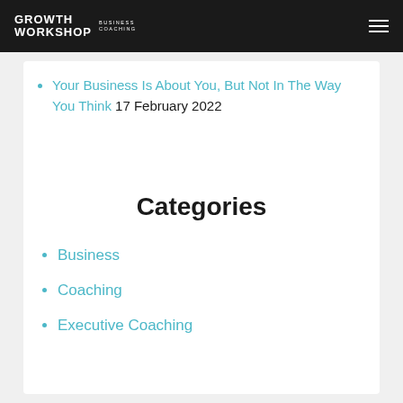GROWTH WORKSHOP BUSINESS COACHING
Your Business Is About You, But Not In The Way You Think 17 February 2022
Categories
Business
Coaching
Executive Coaching